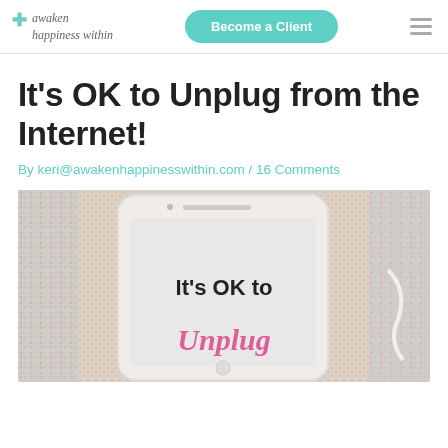awaken happiness within | Become a Client
It's OK to Unplug from the Internet!
By keri@awakenhappinesswithin.com / 16 Comments
[Figure (photo): A smartphone lying on a colorful woven fabric background, with the text 'It's OK to' visible on the phone screen]